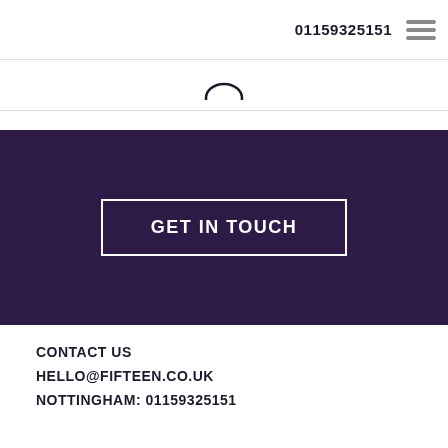01159325151
[Figure (other): Hamburger menu icon (three horizontal gray lines)]
[Figure (logo): Fifteen company logo (partial, bottom of logo visible with horizontal rule)]
GET IN TOUCH
CONTACT US
HELLO@FIFTEEN.CO.UK
NOTTINGHAM: 01159325151